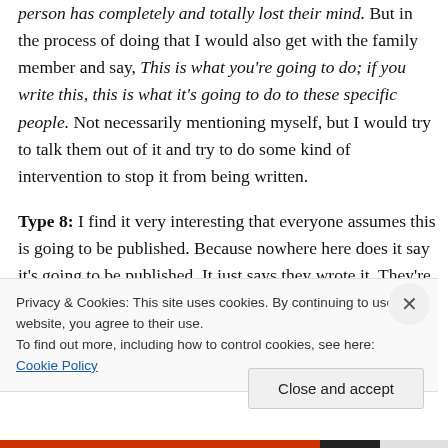person has completely and totally lost their mind. But in the process of doing that I would also get with the family member and say, This is what you're going to do; if you write this, this is what it's going to do to these specific people. Not necessarily mentioning myself, but I would try to talk them out of it and try to do some kind of intervention to stop it from being written.
Type 8: I find it very interesting that everyone assumes this is going to be published. Because nowhere here does it say it's going to be published. It just says they wrote it. They're writing it. It's not even done yet. How I would feel
Privacy & Cookies: This site uses cookies. By continuing to use this website, you agree to their use.
To find out more, including how to control cookies, see here: Cookie Policy
Close and accept